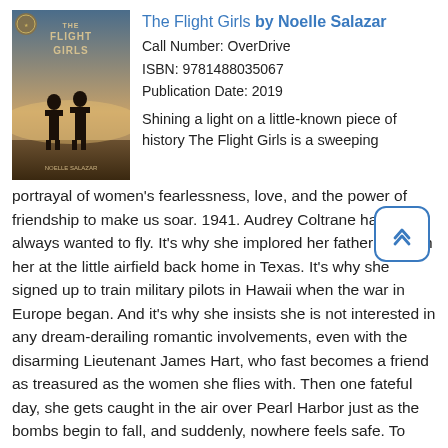[Figure (illustration): Book cover of 'The Flight Girls' by Noelle Salazar showing two women in flight gear standing against a moody sky background]
The Flight Girls by Noelle Salazar
Call Number: OverDrive
ISBN: 9781488035067
Publication Date: 2019
Shining a light on a little-known piece of history The Flight Girls is a sweeping portrayal of women's fearlessness, love, and the power of friendship to make us soar. 1941. Audrey Coltrane has always wanted to fly. It's why she implored her father to teach her at the little airfield back home in Texas. It's why she signed up to train military pilots in Hawaii when the war in Europe began. And it's why she insists she is not interested in any dream-derailing romantic involvements, even with the disarming Lieutenant James Hart, who fast becomes a friend as treasured as the women she flies with. Then one fateful day, she gets caught in the air over Pearl Harbor just as the bombs begin to fall, and suddenly, nowhere feels safe. To make everything she's lost count for something, Audrey joins the Women Airforce Service Pilots